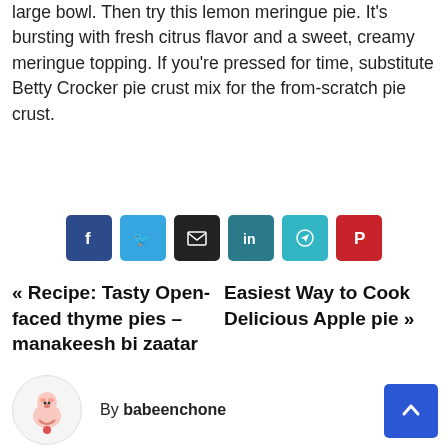large bowl. Then try this lemon meringue pie. It's bursting with fresh citrus flavor and a sweet, creamy meringue topping. If you're pressed for time, substitute Betty Crocker pie crust mix for the from-scratch pie crust.
[Figure (other): Row of six social share buttons: Facebook (dark blue), Twitter (light blue), Email (dark/black), LinkedIn (teal), Telegram (teal), Pinterest (red)]
« Recipe: Tasty Open-faced thyme pies – manakeesh bi zaatar    Easiest Way to Cook Delicious Apple pie »
By babeenchone
[Figure (illustration): Circular avatar with a small cartoon pig/character illustration on white background]
[Figure (other): Blue 'back to top' button with upward caret arrow, bottom right corner]